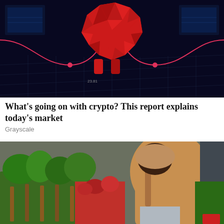[Figure (photo): A red polygonal bear figurine against a dark digital/tech background with glowing pink data lines and grid patterns.]
What’s going on with crypto? This report explains today’s market
Grayscale
[Figure (photo): A person wearing a tan jacket and headscarf bending over a flower market stall full of green plants and colorful flowers.]
Smart Money Moves You Can Make To Guard Against